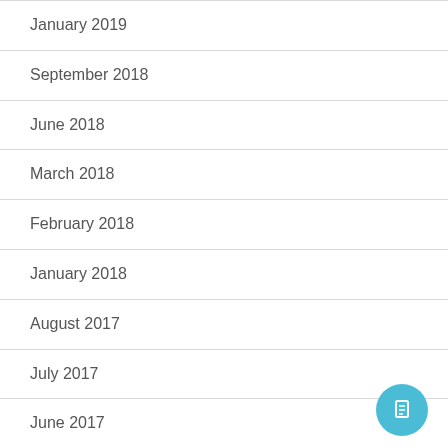January 2019
September 2018
June 2018
March 2018
February 2018
January 2018
August 2017
July 2017
June 2017